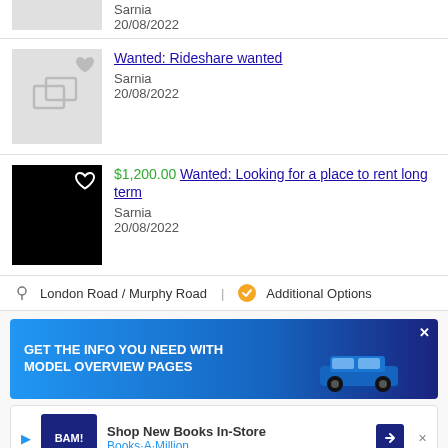[Figure (screenshot): Partial listing thumbnail at top, grey placeholder image]
Sarnia
20/08/2022
[Figure (screenshot): Listing thumbnail with grey placeholder and heart icon]
Wanted: Rideshare wanted
Sarnia
20/08/2022
[Figure (screenshot): Listing thumbnail with black background and heart outline icon]
$1,200.00 Wanted: Looking for a place to rent long term
Sarnia
20/08/2022
London Road / Murphy Road | Additional Options
[Figure (screenshot): Advertisement banner: GET THE INFO YOU NEED WITH MODEL OVERVIEW PAGES with blue car image]
[Figure (screenshot): Advertisement: Shop New Books In-Store - Books-A-Million with BAM logo and arrow]
[Figure (screenshot): Partial listing at bottom with small thumbnail]
Wanted: From rental
Sarnia